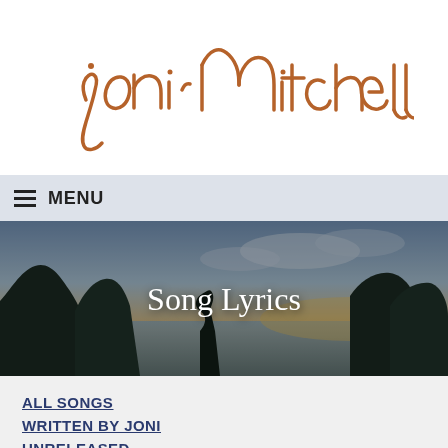[Figure (logo): Joni Mitchell cursive handwritten signature/logo in brown/copper color on white background]
≡ MENU
[Figure (photo): Panoramic landscape photo used as hero banner showing a silhouette of a person on rocks with trees and a lake or sea at dusk/sunset with cloudy sky. Text 'Song Lyrics' overlaid in white serif font.]
ALL SONGS
WRITTEN BY JONI
UNRELEASED
EARLY REPERTOIRE